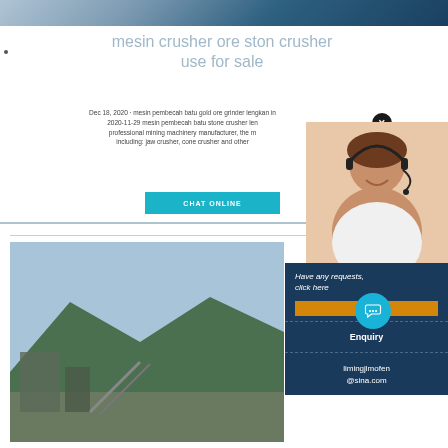[Figure (photo): Top strip showing industrial/mining facility with blue building]
mesin crusher ore ston crusher use for sale
Dec 18, 2020 · mesin pembecah batu gold ore grinder lengkan in 2020-11-29 mesin pembecah batu stone crusher len professional mining machinery manufacturer, the m including: jaw crusher, cone crusher and other
CHAT ONLINE
[Figure (photo): Photo of mining/crushing facility with mountains and conveyor belts in the background]
[Figure (photo): Customer service agent woman with headset smiling]
Have any requests, click here
Que
Enquiry
limingjlmofen@sina.com